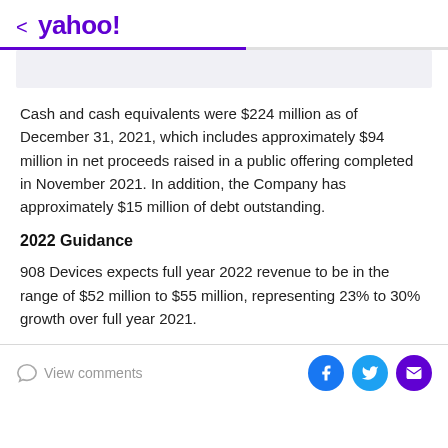< yahoo!
Cash and cash equivalents were $224 million as of December 31, 2021, which includes approximately $94 million in net proceeds raised in a public offering completed in November 2021. In addition, the Company has approximately $15 million of debt outstanding.
2022 Guidance
908 Devices expects full year 2022 revenue to be in the range of $52 million to $55 million, representing 23% to 30% growth over full year 2021.
View comments